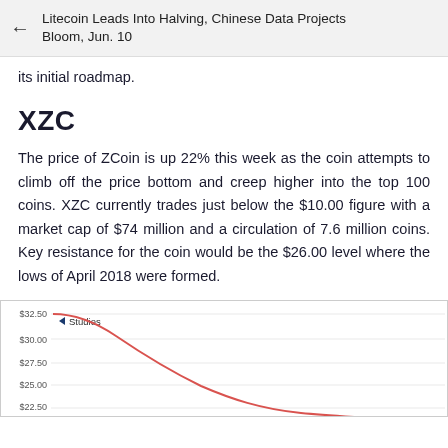Litecoin Leads Into Halving, Chinese Data Projects Bloom, Jun. 10
its initial roadmap.
XZC
The price of ZCoin is up 22% this week as the coin attempts to climb off the price bottom and creep higher into the top 100 coins. XZC currently trades just below the $10.00 figure with a market cap of $74 million and a circulation of 7.6 million coins. Key resistance for the coin would be the $26.00 level where the lows of April 2018 were formed.
[Figure (continuous-plot): Line chart showing XZC price declining from approximately $32.50 down through $30.00, $27.50, $25.00, and heading toward $22.50. A 'Studies' legend label is shown in the top area. The y-axis shows values $32.50, $30.00, $27.50, $25.00, $22.50.]